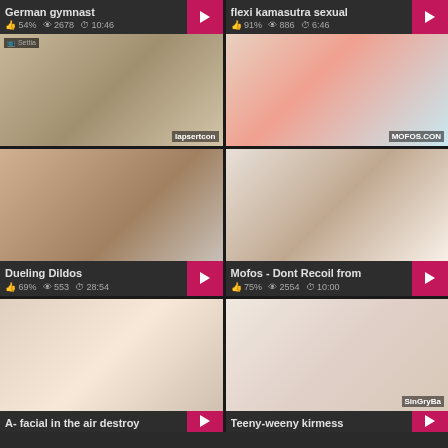German gymnast
54%  2678  10:46
[Figure (photo): Gymnast performing flexible pose]
flexi kamasutra sexual
91%  886  6:46
[Figure (photo): Woman in red top on bed]
Dueling Dildos
69%  553  28:54
Mofos - Dont Recoil from
75%  2554  10:00
[Figure (photo): Couple in intimate scene]
A- facial in the air destroy
[Figure (photo): Group intimate scene]
Teeny-weeny kirmess